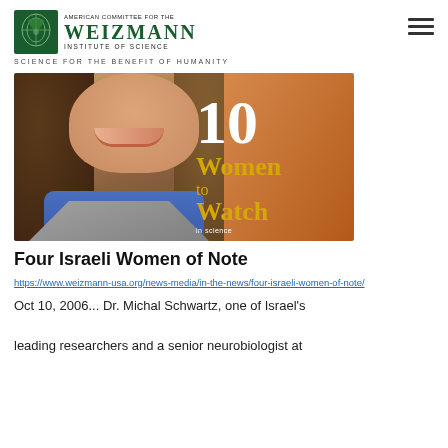[Figure (logo): American Committee for the Weizmann Institute of Science logo with green tree emblem and organization name]
SCIENCE FOR THE BENEFIT OF HUMANITY
[Figure (photo): Magazine cover showing a woman scientist with curly hair smiling, with text '10 Women to Watch' in white and gold on an orange/brown background]
Four Israeli Women of Note
https://www.weizmann-usa.org/news-media/in-the-news/four-israeli-women-of-note/
Oct 10, 2006... Dr. Michal Schwartz, one of Israel's leading researchers and a senior neurobiologist at